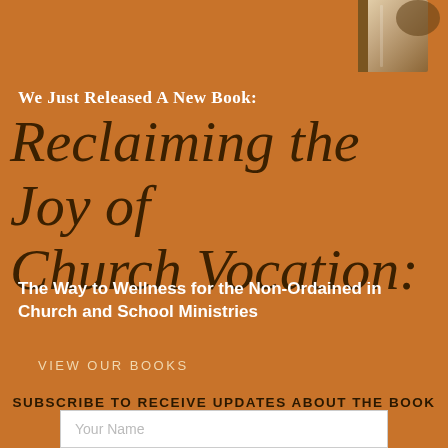[Figure (photo): Partial view of a book cover in the upper right corner against an orange background]
We Just Released A New Book:
Reclaiming the Joy of Church Vocation:
The Way to Wellness for the Non-Ordained in Church and School Ministries
VIEW OUR BOOKS
SUBSCRIBE TO RECEIVE UPDATES ABOUT THE BOOK & FROM OUR BLOG
Your Name